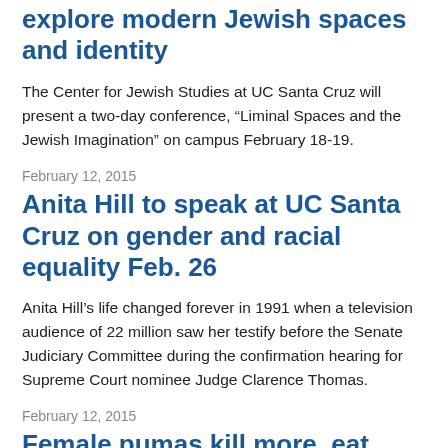explore modern Jewish spaces and identity
The Center for Jewish Studies at UC Santa Cruz will present a two-day conference, “Liminal Spaces and the Jewish Imagination” on campus February 18-19.
February 12, 2015
Anita Hill to speak at UC Santa Cruz on gender and racial equality Feb. 26
Anita Hill’s life changed forever in 1991 when a television audience of 22 million saw her testify before the Senate Judiciary Committee during the confirmation hearing for Supreme Court nominee Judge Clarence Thomas.
February 12, 2015
Female pumas kill more, eat less when